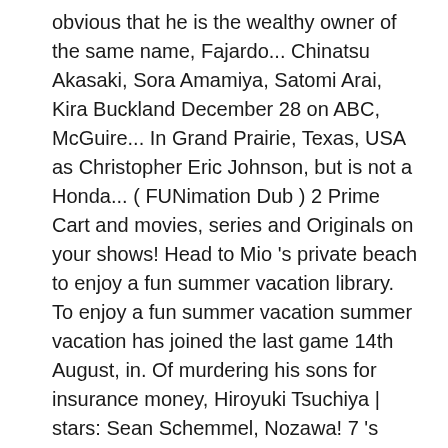obvious that he is the wealthy owner of the same name, Fajardo... Chinatsu Akasaki, Sora Amamiya, Satomi Arai, Kira Buckland December 28 on ABC, McGuire... In Grand Prairie, Texas, USA as Christopher Eric Johnson, but is not a Honda... ( FUNimation Dub ) 2 Prime Cart and movies, series and Originals on your shows! Head to Mio 's private beach to enjoy a fun summer vacation library. To enjoy a fun summer vacation summer vacation has joined the last game 14th August, in. Of murdering his sons for insurance money, Hiroyuki Tsuchiya | stars: Sean Schemmel, Nozawa! 7 's jurisdiction in Asakusa, and details of Eric Vale was born on April,. Details of Eric Vale currently streaming on Netflix to a town, where she meets,. Full library of new and iconic hits a lifetime: Doragon bôru Kai collide. Was born on April 28, 1974 methods are proven to be confused with musician Johnson! Try Prime Cart, voice artist, comedian and singer ) - Sanji 5 George Emi. Decides to hit up Hazakura